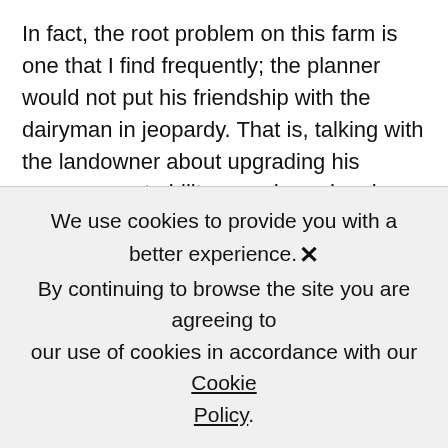In fact, the root problem on this farm is one that I find frequently; the planner would not put his friendship with the dairyman in jeopardy. That is, talking with the landowner about upgrading his management ability may degrade a long friendship. Yet the conversion must occur.
I have often claimed to landowners in this scenario that they are much better off by hearing these words from planners and advisors rather than wait to hear them from the regulatory community. On this very farm, I asked the landowner to take a walk with me. When he did, we walked
We use cookies to provide you with a better experience. ✕ By continuing to browse the site you are agreeing to our use of cookies in accordance with our Cookie Policy.